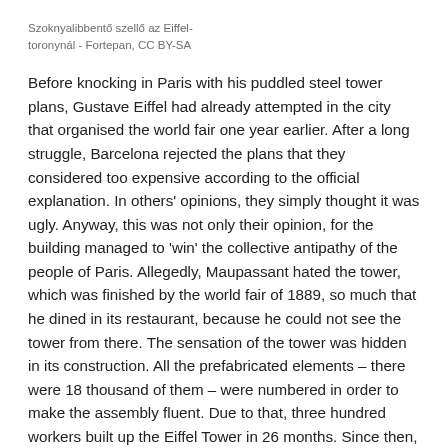Szoknyalibbentő szellő az Eiffel-toronynál - Fortepan, CC BY-SA
Before knocking in Paris with his puddled steel tower plans, Gustave Eiffel had already attempted in the city that organised the world fair one year earlier. After a long struggle, Barcelona rejected the plans that they considered too expensive according to the official explanation. In others' opinions, they simply thought it was ugly. Anyway, this was not only their opinion, for the building managed to 'win' the collective antipathy of the people of Paris. Allegedly, Maupassant hated the tower, which was finished by the world fair of 1889, so much that he dined in its restaurant, because he could not see the tower from there. The sensation of the tower was hidden in its construction. All the prefabricated elements – there were 18 thousand of them – were numbered in order to make the assembly fluent. Due to that, three hundred workers built up the Eiffel Tower in 26 months. Since then, hatred faded and it lives in the memory of the French as a national symbol.
Hangout of those seeking sensual-